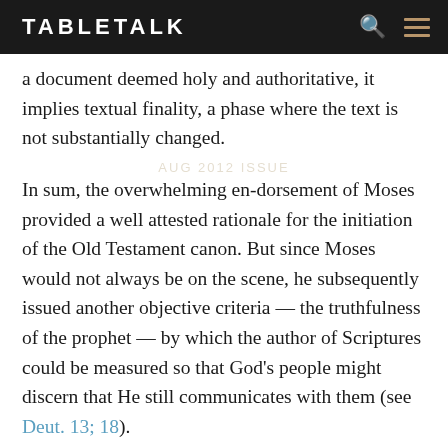TABLETALK
a document deemed holy and authoritative, it implies textual finality, a phase where the text is not substantially changed.
In sum, the overwhelming en-dorsement of Moses provided a well attested rationale for the initiation of the Old Testament canon. But since Moses would not always be on the scene, he subsequently issued another objective criteria — the truthfulness of the prophet — by which the author of Scriptures could be measured so that God's people might discern that He still communicates with them (see Deut. 13; 18).